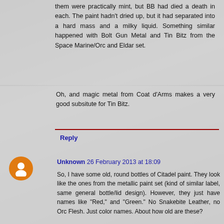them were practically mint, but BB had died a death in each. The paint hadn't dried up, but it had separated into a hard mass and a milky liquid. Something similar happened with Bolt Gun Metal and Tin Bitz from the Space Marine/Orc and Eldar set.
Oh, and magic metal from Coat d'Arms makes a very good subsitute for Tin Bitz.
Reply
Unknown 26 February 2013 at 18:09
So, I have some old, round bottles of Citadel paint. They look like the ones from the metallic paint set (kind of similar label, same general bottle/lid design). However, they just have names like "Red," and "Green." No Snakebite Leather, no Orc Flesh. Just color names. About how old are these?